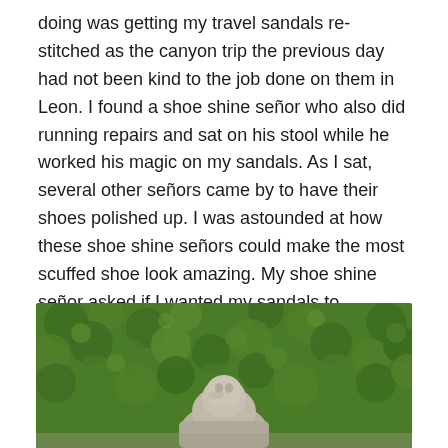doing was getting my travel sandals re-stitched as the canyon trip the previous day had not been kind to the job done on them in Leon. I found a shoe shine señor who also did running repairs and sat on his stool while he worked his magic on my sandals. As I sat, several other señors came by to have their shoes polished up. I was astounded at how these shoe shine señors could make the most scuffed shoe look amazing. My shoe shine señor asked if I wanted my sandals to undergo the same treatment and I readily agreed. After all they are leather and should come up nicely. As it was, they ended up looking almost as new and I pranced out of the Parque Central in my shiny sandals.
[Figure (photo): A stone or concrete sculpture/statue partially visible at the bottom of the image, set against a dense green leafy hedge or bush background. The photo is cropped showing only the top portion of the statue and the green foliage behind it.]